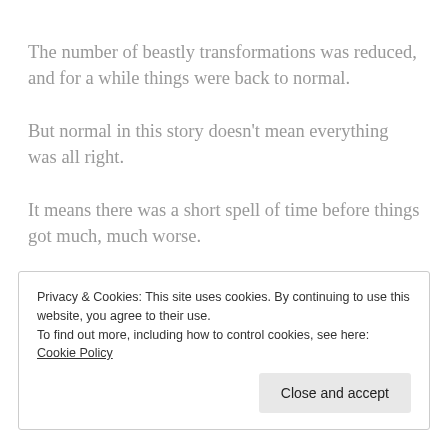The number of beastly transformations was reduced, and for a while things were back to normal.
But normal in this story doesn’t mean everything was all right.
It means there was a short spell of time before things got much, much worse.
#
Privacy & Cookies: This site uses cookies. By continuing to use this website, you agree to their use.
To find out more, including how to control cookies, see here: Cookie Policy